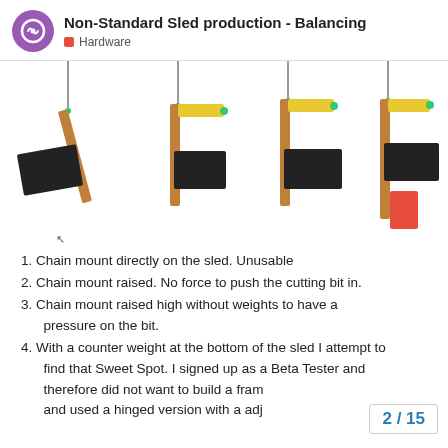Non-Standard Sled production - Balancing | Hardware
[Figure (illustration): Four diagrams showing sled chain mount configurations: 1) tilted sled with black flag weight, 2) raised mount with black flag weight and yellow arm, 3) raised high mount with black flag weight and yellow arm, 4) raised mount with black flag weight, yellow arm, and red counter weight at bottom]
Chain mount directly on the sled. Unusable
Chain mount raised. No force to push the cutting bit in.
Chain mount raised high without weights to have a pressure on the bit.
With a counter weight at the bottom of the sled I attempt to find that Sweet Spot. I signed up as a Beta Tester and therefore did not want to build a fram and used a hinged version with a adj
2 / 15